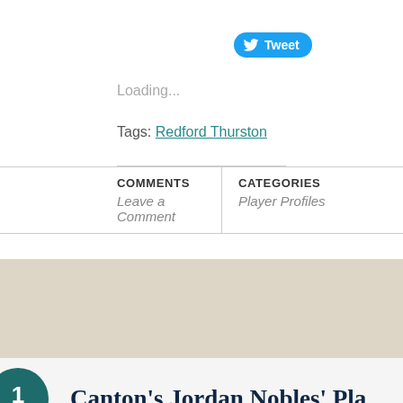[Figure (other): Twitter Tweet button with bird logo]
Loading...
Tags: Redford Thurston
| COMMENTS | CATEGORIES |
| --- | --- |
| Leave a Comment | Player Profiles |
[Figure (other): Tan/beige decorative band]
Canton's Jordan Nobles' Pla